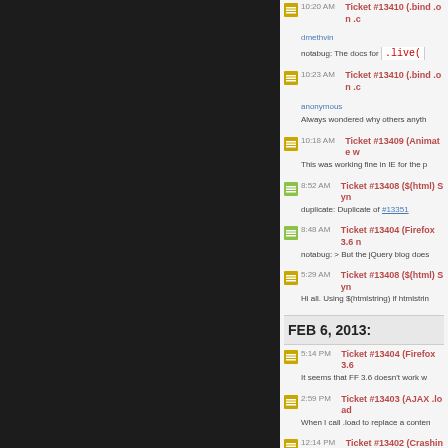FEB 6, 2013:
10:20 AM Ticket #13410 (.bind .on .c... / dmethvin — notabug: The docs for .live(
10:23 AM Ticket #13410 (.bind .on .c... / anonymous — Always wondered why others anyth
10:18 AM Ticket #13409 (Animate w... — This was working fine in IE for the p
8:52 AM Ticket #13408 ($(html) Syn... — duplicate: Duplicate of #13351
8:48 AM Ticket #13404 (Firefox 3.6 n... — notabug: > But the jQuery blog does
5:29 AM Ticket #13408 ($(html) Syn... — Hi all. Using $(htmlstring) if htmlstrin
FEB 6, 2013:
5:14 PM Ticket #13404 (Firefox 3.6 ... — It seems that FF 3.6 doesn't work w
2:59 PM Ticket #13403 (AJAX .load... — When I call .load to replace a conten
12:14 PM Ticket #13402 (Crashing w... — Today we switched from jQuery 1.8...
8:53 AM Ticket #13401 (.replaceWith... — Choose an element you want to repl
8:25 AM Ticket #13397 (parentsUnti... — notabug: Yes, as soon as you start c